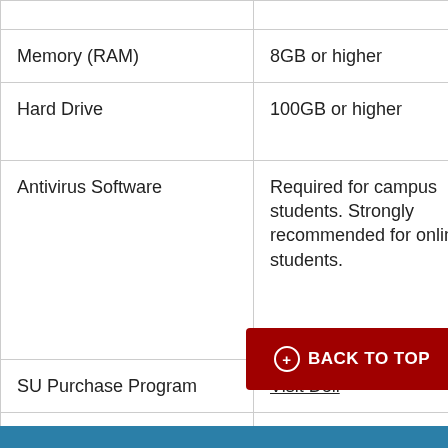|  | Column 2 | Column 3 |
| --- | --- | --- |
| Memory (RAM) | 8GB or higher | 8GB or higher |
| Hard Drive | 100GB or higher | 100GB or higher |
| Antivirus Software | Required for campus students. Strongly recommended for online students. | Required for campus students. Strongly recommended for online students. |
| SU Purchase Program | Visit Dell | Visit A... |
| Internet/Bandwidth | 5 Mbps Download, 5 Mbps Upload, and less than 100 ms Latency | 5 Mbps Download, 5 Mbps Upload, and less than 100 ms Latency |